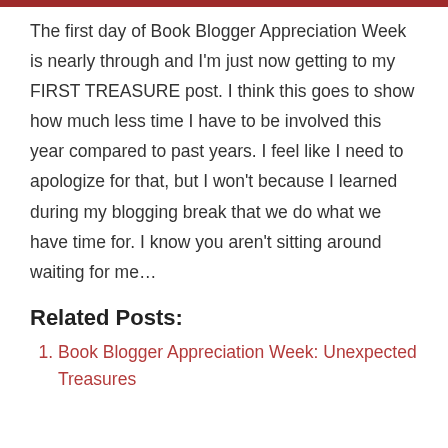The first day of Book Blogger Appreciation Week is nearly through and I'm just now getting to my FIRST TREASURE post. I think this goes to show how much less time I have to be involved this year compared to past years. I feel like I need to apologize for that, but I won't because I learned during my blogging break that we do what we have time for. I know you aren't sitting around waiting for me…
Related Posts:
Book Blogger Appreciation Week: Unexpected Treasures